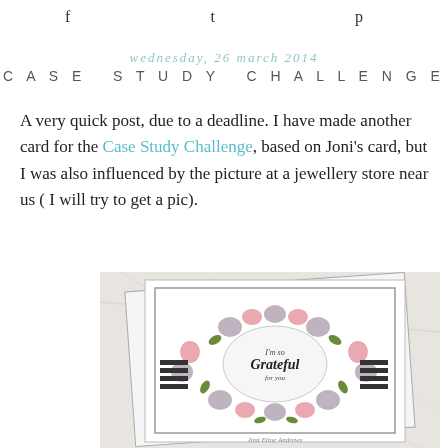f  ✦  p
wednesday, 26 march 2014
CASE STUDY CHALLENGE
A very quick post, due to a deadline. I have made another card for the Case Study Challenge, based on Joni's card, but I was also influenced by the picture at a jewellery store near us ( I will try to get a pic).
[Figure (photo): Photograph of a handmade greeting card with floral wreath design and 'I'm so Grateful for you' text in the center, on a marble background]